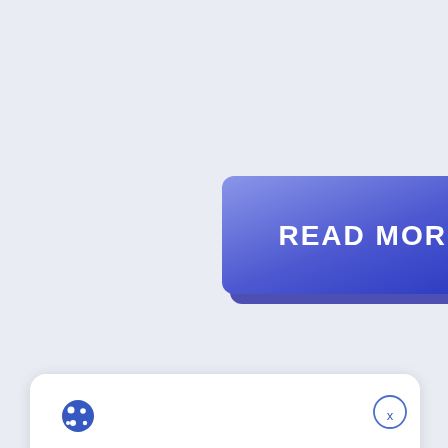[Figure (screenshot): A blue gradient 'READ MORE' button with bold white text and a 3D shadow effect, positioned in the upper-center of the page on a light gray background.]
[Figure (screenshot): A cookie consent banner with a cookie icon, close (x) button, text 'We use cookies on our website to give you the most relevant experience. By continuing to use the site, you agree to the use of cookies.', and two buttons: 'Decline' (outlined) and 'Accept' (filled blue).]